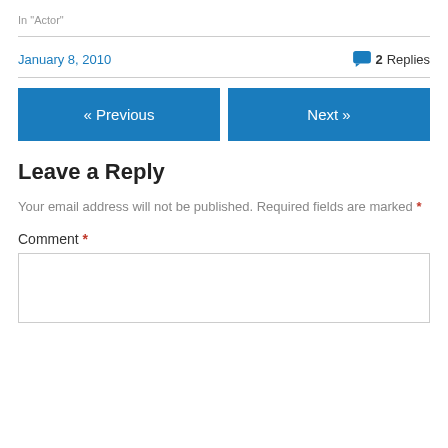In "Actor"
January 8, 2010   2 Replies
« Previous
Next »
Leave a Reply
Your email address will not be published. Required fields are marked *
Comment *